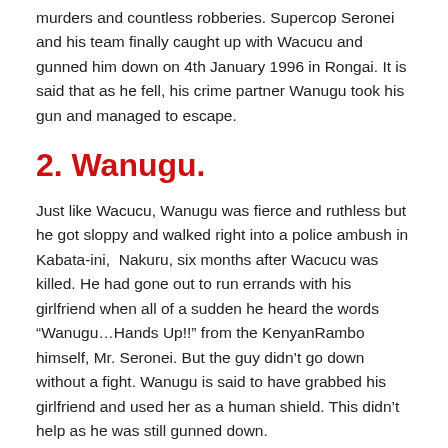murders and countless robberies. Supercop Seronei and his team finally caught up with Wacucu and gunned him down on 4th January 1996 in Rongai. It is said that as he fell, his crime partner Wanugu took his gun and managed to escape.
2. Wanugu.
Just like Wacucu, Wanugu was fierce and ruthless but he got sloppy and walked right into a police ambush in Kabata-ini,  Nakuru, six months after Wacucu was killed. He had gone out to run errands with his girlfriend when all of a sudden he heard the words “Wanugu…Hands Up!!” from the KenyanRambo himself, Mr. Seronei. But the guy didn’t go down without a fight. Wanugu is said to have grabbed his girlfriend and used her as a human shield. This didn’t help as he was still gunned down.